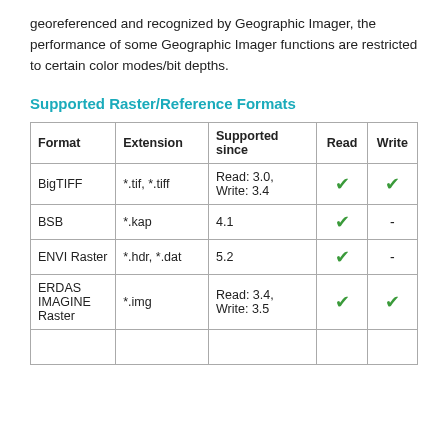georeferenced and recognized by Geographic Imager, the performance of some Geographic Imager functions are restricted to certain color modes/bit depths.
Supported Raster/Reference Formats
| Format | Extension | Supported since | Read | Write |
| --- | --- | --- | --- | --- |
| BigTIFF | *.tif, *.tiff | Read: 3.0, Write: 3.4 | ✓ | ✓ |
| BSB | *.kap | 4.1 | ✓ | - |
| ENVI Raster | *.hdr, *.dat | 5.2 | ✓ | - |
| ERDAS IMAGINE Raster | *.img | Read: 3.4, Write: 3.5 | ✓ | ✓ |
|  |  |  |  |  |